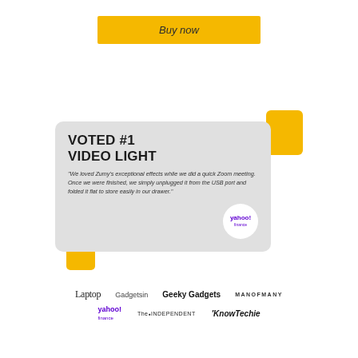Buy now
[Figure (infographic): Testimonial card with 'VOTED #1 VIDEO LIGHT' headline, quote from Yahoo Finance about Zumy video light, with yellow decorative quote mark shapes and Yahoo Finance badge logo]
[Figure (logo): Media logos: Laptop, Gadgetsin, Geeky Gadgets, MANOFMANY, yahoo finance, The Independent, KnowTechie]